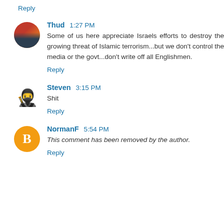Reply
Thud 1:27 PM
Some of us here appreciate Israels efforts to destroy the growing threat of Islamic terrorism...but we don't control the media or the govt...don't write off all Englishmen.
Reply
Steven 3:15 PM
Shit
Reply
NormanF 5:54 PM
This comment has been removed by the author.
Reply